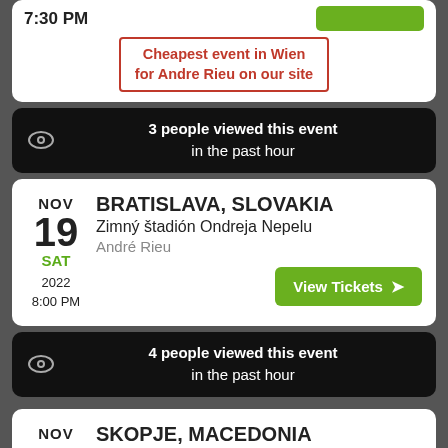7:30 PM
Cheapest event in Wien for Andre Rieu on our site
3 people viewed this event in the past hour
NOV 19 SAT 2022 8:00 PM — BRATISLAVA, SLOVAKIA — Zimný štadión Ondreja Nepelu — André Rieu — View Tickets
4 people viewed this event in the past hour
NOV 23 WED — SKOPJE, MACEDONIA — Boris Trajkovski Sports Center — André Rieu